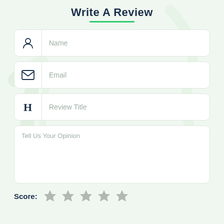Write A Review
Name
Email
Review Title
Tell Us Your Opinion
Score: